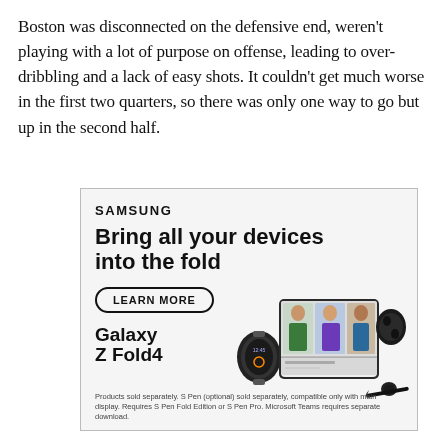Boston was disconnected on the defensive end, weren't playing with a lot of purpose on offense, leading to over-dribbling and a lack of easy shots. It couldn't get much worse in the first two quarters, so there was only one way to go but up in the second half.
[Figure (other): Samsung advertisement for Galaxy Z Fold4. Shows Samsung logo, headline 'Bring all your devices into the fold', a 'LEARN MORE' button, product name 'Galaxy Z Fold4', an illustration of the folded phone open showing a video call, a smartwatch, earbuds, and an S Pen. Disclaimer text at bottom reads: 'Products sold separately. S Pen (optional) sold separately, compatible only with main display. Requires S Pen Fold Edition or S Pen Pro. Microsoft Teams requires separate download.']